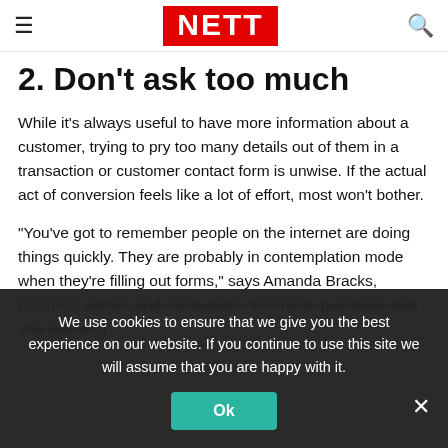≡ NETT 🔍
2. Don't ask too much
While it's always useful to have more information about a customer, trying to pry too many details out of them in a transaction or customer contact form is unwise. If the actual act of conversion feels like a lot of effort, most won't bother.
“You’ve got to remember people on the internet are doing things quickly. They are probably in contemplation mode when they’re filling out forms,” says Amanda Bracks, business author, and consultant. “The more questions that you ask for a
We use cookies to ensure that we give you the best experience on our website. If you continue to use this site we will assume that you are happy with it.
Ok